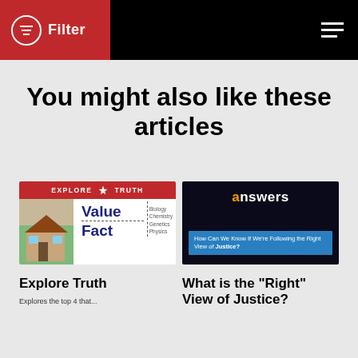Filter
You might also like these articles
[Figure (screenshot): Explore Truth website thumbnail showing a header banner with 'EXPLORE TRUTH' text, a house image, and 'Value Fact' text with Biology, Chemistry, Genetics, Physics columns]
[Figure (screenshot): Answers website thumbnail showing 'answers' logo and blue box with text 'How Can We Know If We're Following the Right View of Justice?' against a dark city skyline background]
Explore Truth
What is the “Right” View of Justice?